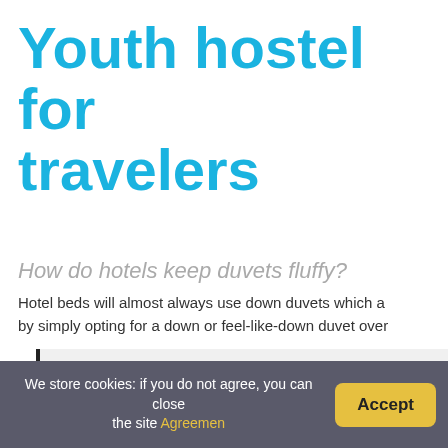Youth hostel for travelers
How do hotels keep duvets fluffy?
Hotel beds will almost always use down duvets which a by simply opting for a down or feel-like-down duvet over
You might be interested:  FAQ: Who Is The D
How do hotels keep sheets wrinkle free?
The secret is a spray bottle full of plain old tap water - made bed (the corners should still be sticking out). The settle.
We store cookies: if you do not agree, you can close the site Agreemen  Accept